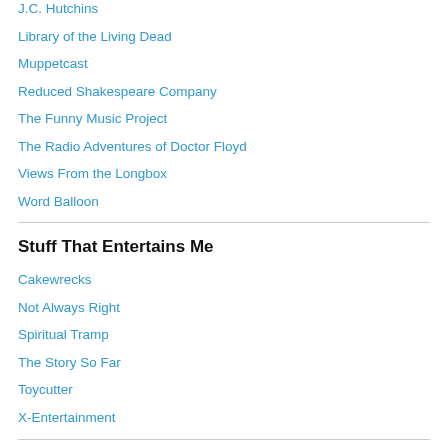J.C. Hutchins
Library of the Living Dead
Muppetcast
Reduced Shakespeare Company
The Funny Music Project
The Radio Adventures of Doctor Floyd
Views From the Longbox
Word Balloon
Stuff That Entertains Me
Cakewrecks
Not Always Right
Spiritual Tramp
The Story So Far
Toycutter
X-Entertainment